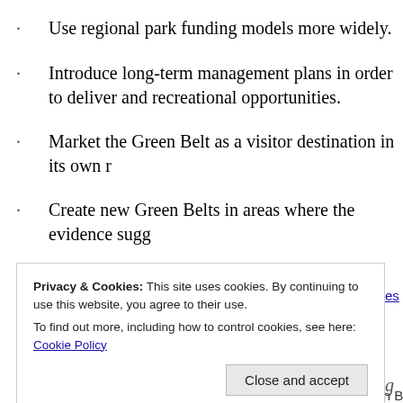Use regional park funding models more widely.
Introduce long-term management plans in order to deliver and recreational opportunities.
Market the Green Belt as a visitor destination in its own r
Create new Green Belts in areas where the evidence sugg
Ends
Notes to editors
Privacy & Cookies: This site uses cookies. By continuing to use this website, you agree to their use.
To find out more, including how to control cookies, see here: Cookie Policy
CPRE and Natural England. It compares the qualities of Green B